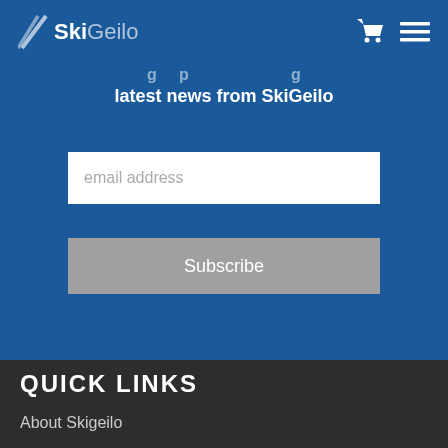SkiGeilo
latest news from SkiGeilo
email address
Subscribe
QUICK LINKS
About Skigeilo
Employment